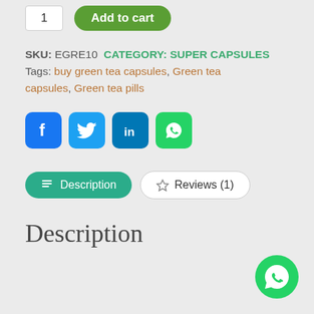1   Add to cart
SKU: EGRE10  CATEGORY: SUPER CAPSULES  Tags: buy green tea capsules, Green tea capsules, Green tea pills
[Figure (other): Social media share icons: Facebook, Twitter, LinkedIn, WhatsApp]
Description   Reviews (1)
Description
[Figure (other): WhatsApp floating action button, bottom right corner]